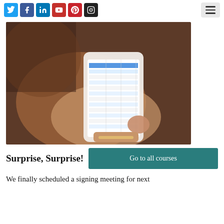Social media icons: Twitter, Facebook, LinkedIn, YouTube, Pinterest, Instagram; Hamburger menu
[Figure (photo): A woman's hand with purple nail polish holding a white smartphone displaying a spreadsheet or email inbox, against a dark warm-toned background.]
Surprise, Surprise!
Go to all courses
We finally scheduled a signing meeting for next